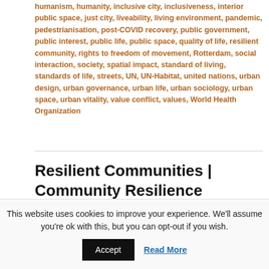humanism, humanity, inclusive city, inclusiveness, interior public space, just city, liveability, living environment, pandemic, pedestrianisation, post-COVID recovery, public government, public interest, public life, public space, quality of life, resilient community, rights to freedom of movement, Rotterdam, social interaction, society, spatial impact, standard of living, standards of life, streets, UN, UN-Habitat, united nations, urban design, urban governance, urban life, urban sociology, urban space, urban vitality, value conflict, values, World Health Organization
Resilient Communities | Community Resilience
Posted on November 4, 2019
This website uses cookies to improve your experience. We'll assume you're ok with this, but you can opt-out if you wish.
Accept  Read More